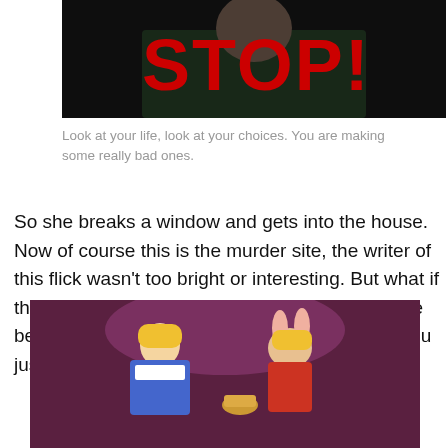[Figure (photo): Dark photo of a person in a green shirt with large red bold text 'STOP!' overlaid on the image]
Look at your life, look at your choices. You are making some really bad ones.
So she breaks a window and gets into the house. Now of course this is the murder site, the writer of this flick wasn't too bright or interesting. But what if this wasn't the murder house? What if this house belongs to someone and you just wrecked it? You just don't think do you.
[Figure (illustration): Animated illustration from Alice in Wonderland showing Alice and the White Rabbit character against a dark purple background]